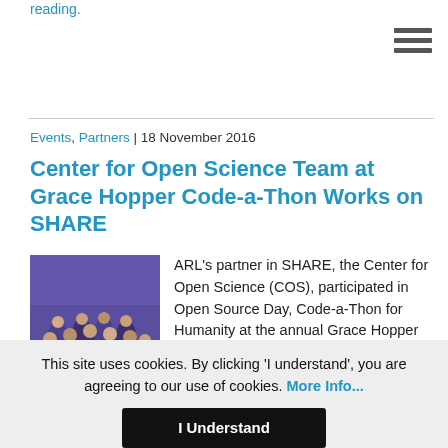reading.
Events, Partners | 18 November 2016
Center for Open Science Team at Grace Hopper Code-a-Thon Works on SHARE
[Figure (photo): Group photo of women at a conference event, likely the Grace Hopper Celebration, posed together in front of a purple/blue lit backdrop.]
ARL's partner in SHARE, the Center for Open Science (COS), participated in Open Source Day, Code-a-Thon for Humanity at the annual Grace Hopper Celebration of Women in Computing (GHC) in Houston, Texas, on October 21, 2016. The code-a-thon was geared ...continue reading.
This site uses cookies. By clicking 'I understand', you are agreeing to our use of cookies. More Info...
I Understand